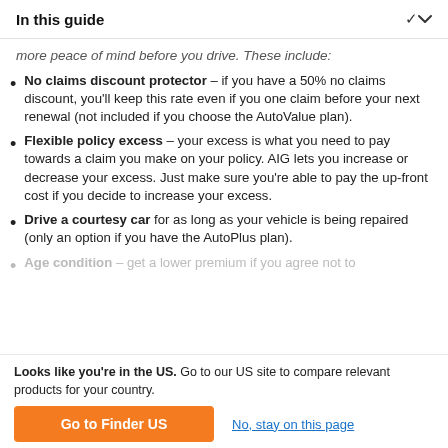In this guide
more peace of mind before you drive. These include:
No claims discount protector – if you have a 50% no claims discount, you'll keep this rate even if you one claim before your next renewal (not included if you choose the AutoValue plan).
Flexible policy excess – your excess is what you need to pay towards a claim you make on your policy. AIG lets you increase or decrease your excess. Just make sure you're able to pay the up-front cost if you decide to increase your excess.
Drive a courtesy car for as long as your vehicle is being repaired (only an option if you have the AutoPlus plan).
Age condition – get a lower premium if you agree not to
Looks like you're in the US. Go to our US site to compare relevant products for your country.
Go to Finder US
No, stay on this page